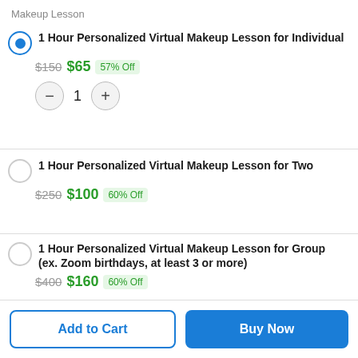Makeup Lesson
1 Hour Personalized Virtual Makeup Lesson for Individual
$150 $65 57% Off
Quantity: 1
1 Hour Personalized Virtual Makeup Lesson for Two
$250 $100 60% Off
1 Hour Personalized Virtual Makeup Lesson for Group (ex. Zoom birthdays, at least 3 or more)
$400 $160 60% Off